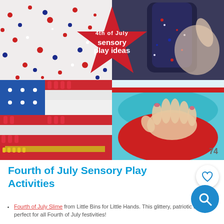[Figure (photo): Collage of four Fourth of July sensory play activity photos: top-left shows red white and blue sprinkles, top-right shows a child's hand holding a dark glitter bottle, bottom-left shows a pasta American flag in red white and blue, bottom-right shows a child's hands pressing into red and blue clay/slime. A red star banner in the center reads 'sensory play ideas'. A '74' count appears in the bottom-right corner.]
Fourth of July Sensory Play Activities
Fourth of July Slime from Little Bins for Little Hands. This glittery, patriotic slime is perfect for all Fourth of July festivities!